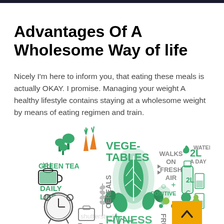Advantages Of A Wholesome Way of life
Nicely I'm here to inform you, that eating these meals is actually OKAY. I promise. Managing your weight A healthy lifestyle contains staying at a wholesome weight by means of eating regimen and train.
[Figure (infographic): Health lifestyle infographic shaped like a heart/body composed of icons and labels: GREEN TEA (cup icon), VEGE-TABLES (leaf icons, carrots, broccoli), WALKS ON FRESH AIR (arrow icons), WATER 2L A DAY (bottle and glass icons), DAILY LIFE (alarm clock icon), CEREALS (wheat icon), FITNESS (dumbbell, shoe, heartbeat icons), FRUIT (apple, pear icons), POSITIVE (smiley face icon). Watermark text 'shutterstock' visible. Background is white.]